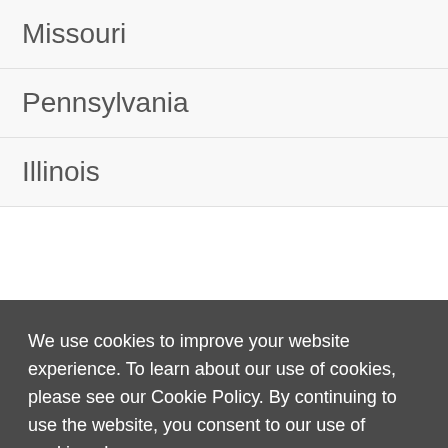Missouri
Pennsylvania
Illinois
We use cookies to improve your website experience. To learn about our use of cookies, please see our Cookie Policy. By continuing to use the website, you consent to our use of cookies. Learn more
Got it!